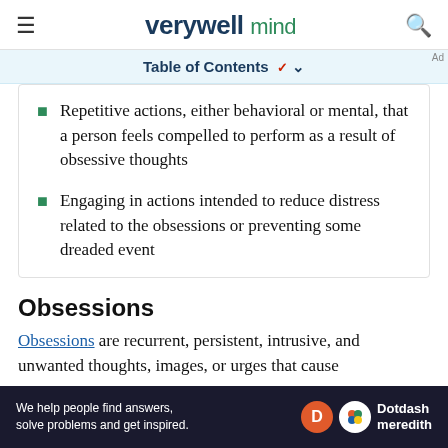verywell mind
Table of Contents ▾
Repetitive actions, either behavioral or mental, that a person feels compelled to perform as a result of obsessive thoughts
Engaging in actions intended to reduce distress related to the obsessions or preventing some dreaded event
Obsessions
Obsessions are recurrent, persistent, intrusive, and unwanted thoughts, images, or urges that cause